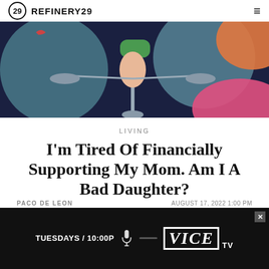REFINERY29
[Figure (illustration): Colorful illustrated scene with a dark blue background showing a person's leg/foot on a balance scale, with pink, orange, and teal circular shapes]
LIVING
I'm Tired Of Financially Supporting My Mom. Am I A Bad Daughter?
PACO DE LEON
AUGUST 17, 2022 1:00 PM
[Figure (screenshot): VICE TV advertisement banner: TUESDAYS / 10:00P with microphone icon and VICE TV logo on black background]